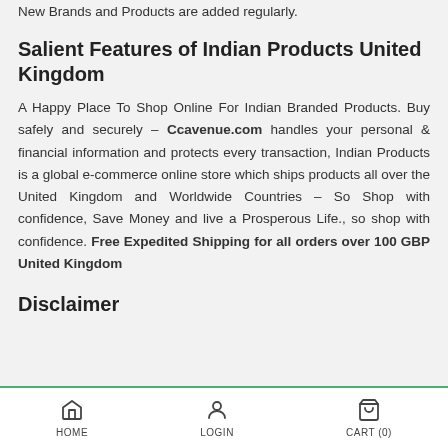New Brands and Products are added regularly.
Salient Features of Indian Products United Kingdom
A Happy Place To Shop Online For Indian Branded Products. Buy safely and securely – Ccavenue.com handles your personal & financial information and protects every transaction, Indian Products is a global e-commerce online store which ships products all over the United Kingdom and Worldwide Countries – So Shop with confidence, Save Money and live a Prosperous Life., so shop with confidence. Free Expedited Shipping for all orders over 100 GBP United Kingdom
Disclaimer
HOME   LOGIN   CART (0)